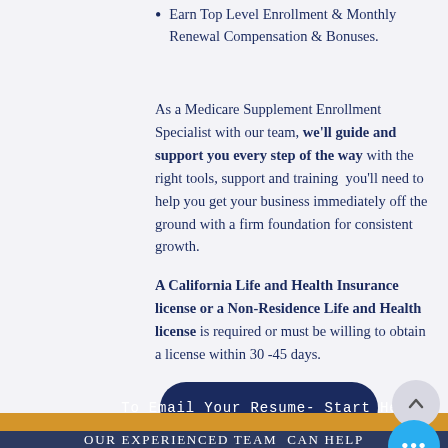Earn Top Level Enrollment & Monthly Renewal Compensation & Bonuses.
As a Medicare Supplement Enrollment Specialist with our team, we'll guide and support you every step of the way with the right tools, support and training  you'll need to help you get your business immediately off the ground with a firm foundation for consistent growth.
A California Life and Health Insurance license or a Non-Residence Life and Health license is required or must be willing to obtain a license within 30 -45 days.
To Email Your Resume- Start Here
OUR EXPERIENCED TEAM  CAN HELP